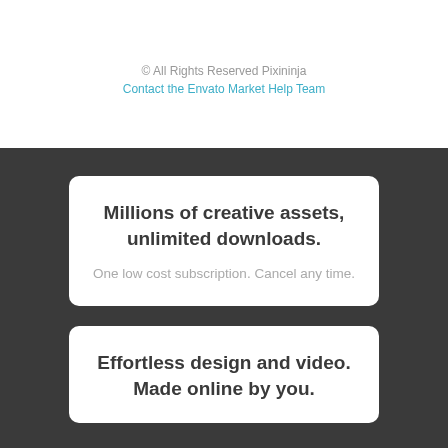© All Rights Reserved Pixininja
Contact the Envato Market Help Team
Millions of creative assets, unlimited downloads.
One low cost subscription. Cancel any time.
Effortless design and video. Made online by you.